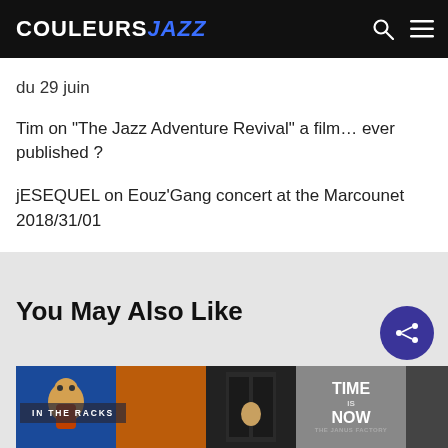COULEURS JAZZ
du 29 juin
Tim on “The Jazz Adventure Revival” a film… ever published ?
jESEQUEL on Eouz’Gang concert at the Marcounet 2018/31/01
You May Also Like
[Figure (photo): IN THE RACKS section showing several album covers in a horizontal strip]